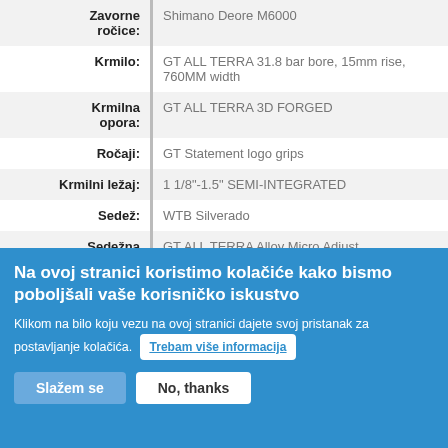| Specifikacija | Vrijednost |
| --- | --- |
| Zavorne ročice: | Shimano Deore M6000 |
| Krmilo: | GT ALL TERRA 31.8 bar bore, 15mm rise, 760MM width |
| Krmilna opora: | GT ALL TERRA 3D FORGED |
| Ročaji: | GT Statement logo grips |
| Krmilni ležaj: | 1 1/8"-1.5" SEMI-INTEGRATED |
| Sedež: | WTB Silverado |
| Sedežna opora: | GT ALL TERRA Alloy Micro Adjust |
| Sedežna objemka: | GT ALL TERRA Alloy QR |
Na ovoj stranici koristimo kolačiće kako bismo poboljšali vaše korisničko iskustvo
Klikom na bilo koju vezu na ovoj stranici dajete svoj pristanak za postavljanje kolačića. Trebam više informacija
Slažem se | No, thanks